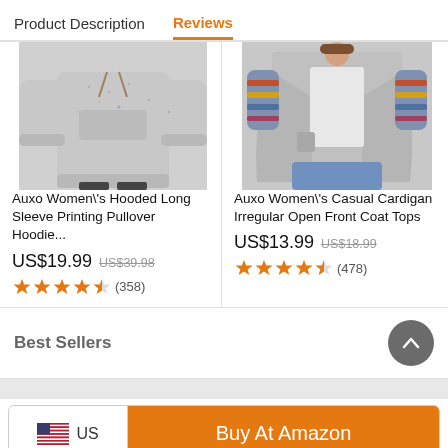Product Description | Reviews
[Figure (photo): Auxo Women's Hooded Long Sleeve Printing Pullover Hoodie product photo - grey speckled hoodie]
Auxo Women\'s Hooded Long Sleeve Printing Pullover Hoodie...
US$19.99  US$39.98
★★★★½ (358)
[Figure (photo): Auxo Women's Casual Cardigan Irregular Open Front Coat Tops product photo - grey cardigan]
Auxo Women\'s Casual Cardigan Irregular Open Front Coat Tops
US$13.99  US$18.99
★★★★½ (478)
Best Sellers
US  Buy At Amazon